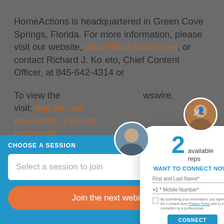HomeActions is headquartered in Green Cove Springs, Florida. For more information, please visit our website, www.HomeActions.net, or contact Richard J. Koreto, Chief Content Officer, at 845-642-4314 or
To view the full story on PR Newswire, visit: http://...ws-releases/h...-2-million-relationshi...-300099520.h...
[Figure (screenshot): A popup chat bubble showing '2 available reps' with 'WANT TO CONNECT NOW?' heading, fields for First and Last Name and Mobile Number, consent checkbox, and a CONNECT button. Two circular avatar profile pictures are shown overlapping the bubble.]
CHOOSE A SESSION
7 MORE SESSIONS
Select a session to join
Join the next webinar